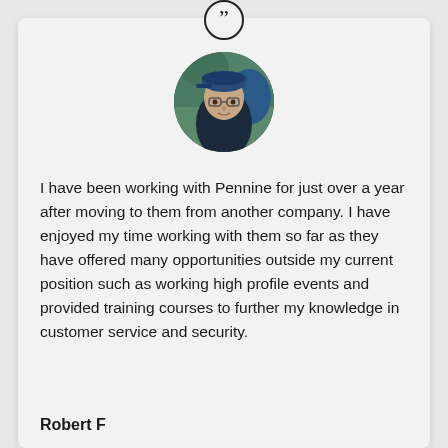[Figure (illustration): Circular quotation mark icon at top of testimonial card]
[Figure (photo): Circular profile photo of Robert F, a man wearing glasses and a blue cap, outdoors]
I have been working with Pennine for just over a year after moving to them from another company. I have enjoyed my time working with them so far as they have offered many opportunities outside my current position such as working high profile events and provided training courses to further my knowledge in customer service and security.
Robert F